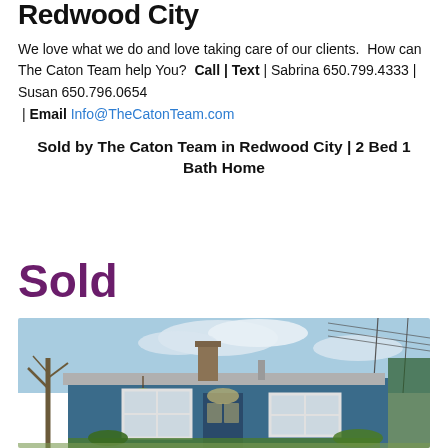Redwood City
We love what we do and love taking care of our clients. How can The Caton Team help You? Call | Text | Sabrina 650.799.4333 | Susan 650.796.0654 | Email Info@TheCatonTeam.com
Sold by The Caton Team in Redwood City | 2 Bed 1 Bath Home
Sold
[Figure (photo): Exterior photo of a small blue single-story home with a chimney, hanging flower basket by the front door, white-trimmed windows, and a leafless tree on the left side. Taken on a partly cloudy day.]